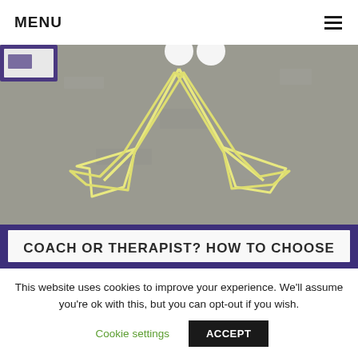MENU
[Figure (photo): Aerial view of a concrete or asphalt surface with yellow chalk arrows pointing outward in two directions (left and right), with a purple-bordered sign below reading 'COACH OR THERAPIST? HOW TO CHOOSE']
This website uses cookies to improve your experience. We'll assume you're ok with this, but you can opt-out if you wish.
Cookie settings   ACCEPT